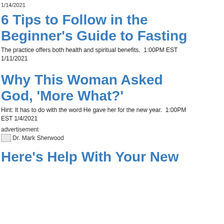1/14/2021
6 Tips to Follow in the Beginner's Guide to Fasting
The practice offers both health and spiritual benefits.  1:00PM EST 1/11/2021
Why This Woman Asked God, 'More What?'
Hint: It has to do with the word He gave her for the new year.  1:00PM EST 1/4/2021
advertisement
[Figure (photo): Dr. Mark Sherwood advertisement image]
Here's Help With Your New